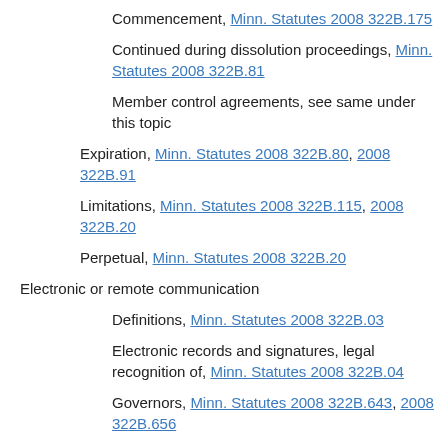Commencement, Minn. Statutes 2008 322B.175
Continued during dissolution proceedings, Minn. Statutes 2008 322B.81
Member control agreements, see same under this topic
Expiration, Minn. Statutes 2008 322B.80, 2008 322B.91
Limitations, Minn. Statutes 2008 322B.115, 2008 322B.20
Perpetual, Minn. Statutes 2008 322B.20
Electronic or remote communication
Definitions, Minn. Statutes 2008 322B.03
Electronic records and signatures, legal recognition of, Minn. Statutes 2008 322B.04
Governors, Minn. Statutes 2008 322B.643, 2008 322B.656